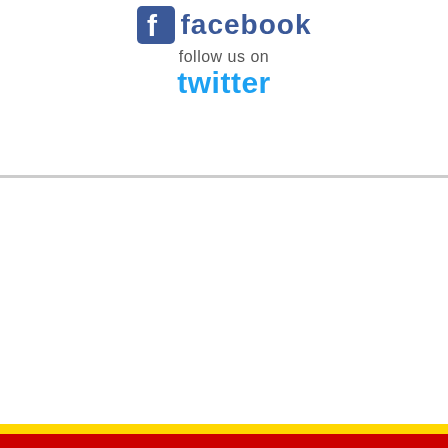[Figure (logo): Facebook logo icon and wordmark 'facebook' with Follow us on Twitter text in blue]
follow us on
twitter